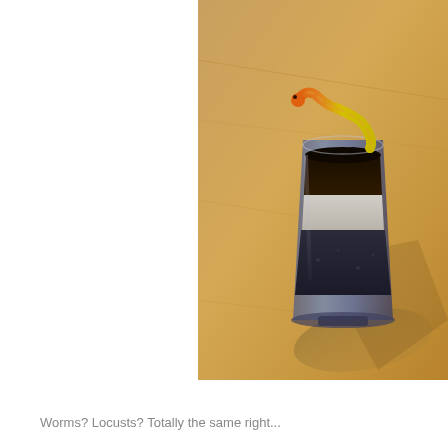[Figure (photo): A layered shot glass dessert on a wooden table. The glass contains dark chocolate layer on top with a gummy worm (yellow and orange) draped over the rim, a white cream layer in the middle, and a dark bottom layer. The glass sits on a light wood surface with a shadow cast to the right.]
Worms? Locusts? Totally the same right...